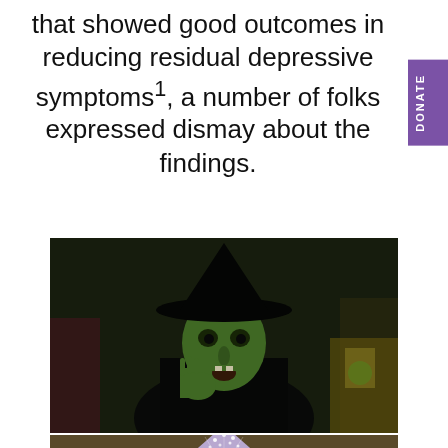that showed good outcomes in reducing residual depressive symptoms¹, a number of folks expressed dismay about the findings.
[Figure (photo): Movie still of the Wicked Witch of the West character (green-faced witch with black hat) from The Wizard of Oz, appearing menacing with mouth open]
[Figure (photo): Partial movie still showing a character with a tall sparkly/glittery hat, cropped at bottom of page]